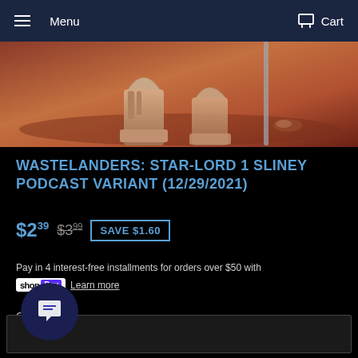≡ Menu   Cart
[Figure (photo): Partial comic book cover showing boots/feet on a reddish-brown surface, semi-abstract painted style]
WASTELANDERS: STAR-LORD 1 SLINEY PODCAST VARIANT (12/29/2021)
$2.39  $3.99  SAVE $1.60
Pay in 4 interest-free installments for orders over $50 with shop Pay  Learn more
Quantity